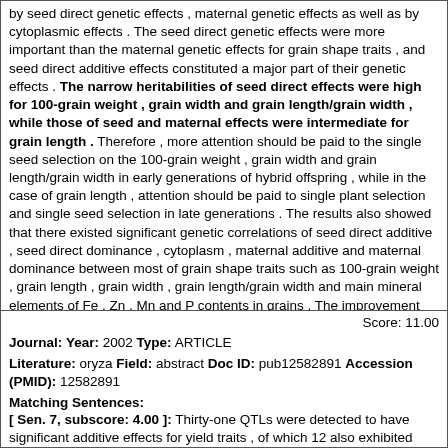by seed direct genetic effects , maternal genetic effects as well as by cytoplasmic effects . The seed direct genetic effects were more important than the maternal genetic effects for grain shape traits , and seed direct additive effects constituted a major part of their genetic effects . The narrow heritabilities of seed direct effects were high for 100-grain weight , grain width and grain length/grain width , while those of seed and maternal effects were intermediate for grain length . Therefore , more attention should be paid to the single seed selection on the 100-grain weight , grain width and grain length/grain width in early generations of hybrid offspring , while in the case of grain length , attention should be paid to single plant selection and single seed selection in late generations . The results also showed that there existed significant genetic correlations of seed direct additive , seed direct dominance , cytoplasm , maternal additive and maternal dominance between most of grain shape traits such as 100-grain weight , grain length , grain width , grain length/grain width and main mineral elements of Fe , Zn , Mn and P contents in grains . The improvement for nutrient quality traits of main mineral elements Fe , Zn , Mn and P contents in indica black pericarp rice could be realized by the indirect selection of grain shape traits in speciality rice quality breeding .
Score: 11.00
Journal: Year: 2002 Type: ARTICLE
Literature: oryza Field: abstract Doc ID: pub12582891 Accession (PMID): 12582891
Matching Sentences:
[ Sen. 7, subscore: 4.00 ]: Thirty-one QTLs were detected to have significant additive effects for yield traits , of which 12 also exhibited significant epistatic effects . Sixteen significant additive-by-additive ( AA ) interactions were detected , of which nine occurred between QTLs with